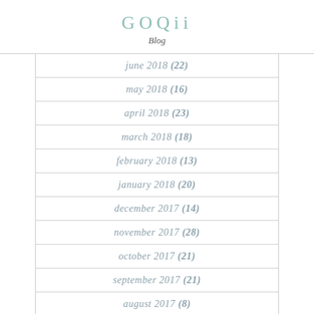GOQii Blog
june 2018 (22)
may 2018 (16)
april 2018 (23)
march 2018 (18)
february 2018 (13)
january 2018 (20)
december 2017 (14)
november 2017 (28)
october 2017 (21)
september 2017 (21)
august 2017 (8)
july 2017 (11)